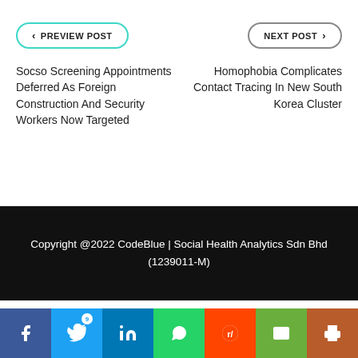< PREVIEW POST
Socso Screening Appointments Deferred As Foreign Construction And Security Workers Now Targeted
NEXT POST >
Homophobia Complicates Contact Tracing In New South Korea Cluster
Copyright @2022 CodeBlue | Social Health Analytics Sdn Bhd (1239011-M)